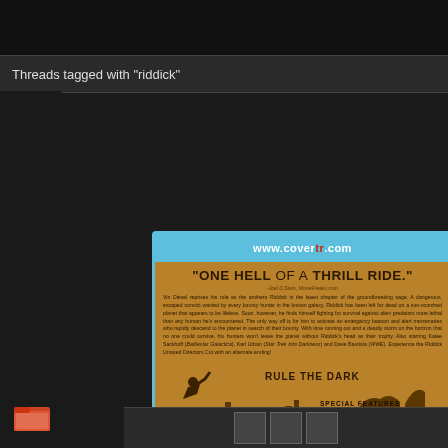Threads tagged with "riddick"
[Figure (photo): Blu-ray cover for Riddick movie showing back cover with golden/brown color scheme, featuring tagline 'ONE HELL OF A THRILL RIDE.', synopsis text, 'RULE THE DARK' heading, character silhouettes, special features list, and production credits. Website www.covertr.com shown at top of cover.]
[Figure (other): Partial view of another Blu-ray case on the right edge showing 'RIDDICK' text vertically]